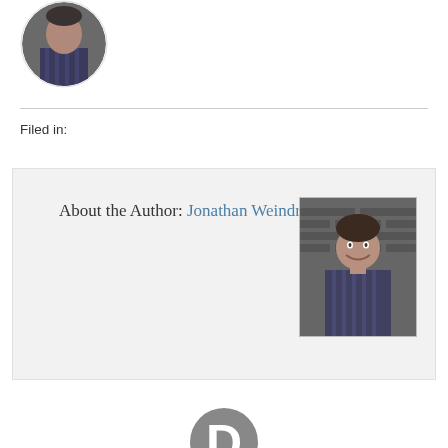[Figure (photo): Circular avatar photo of a man in a striped shirt, used as profile picture at top of page]
Filed in:
About the Author: Jonathan Weindruch
[Figure (photo): Rectangular portrait photo of Jonathan Weindruch, a man smiling in front of a brick wall, wearing a striped shirt]
[Figure (logo): Disqus logo — letter D in a dark gray circle, partially visible at bottom of page]